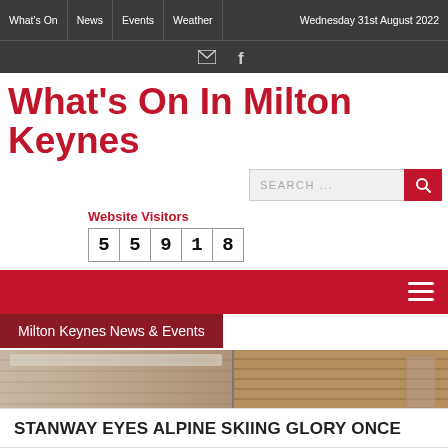What's On | News | Events | Weather | Wednesday 31st August 2022
What's On In Milton Keynes
SEARCH ...
Website Visitors
55918
Milton Keynes News & Events
[Figure (photo): Exterior photograph of a building with brick facade and decorative stone cornice]
STANWAY EYES ALPINE SKIING GLORY ONCE